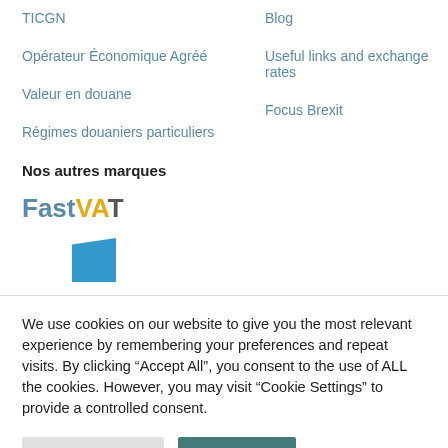TICGN
Opérateur Économique Agréé
Valeur en douane
Régimes douaniers particuliers
Blog
Useful links and exchange rates
Focus Brexit
Nos autres marques
[Figure (logo): FastVAT logo with 'Fast' in blue and 'VAT' in yellow/dark]
[Figure (logo): Small blue angular shape logo]
We use cookies on our website to give you the most relevant experience by remembering your preferences and repeat visits. By clicking “Accept All”, you consent to the use of ALL the cookies. However, you may visit "Cookie Settings" to provide a controlled consent.
Cookie Settings
Accept All